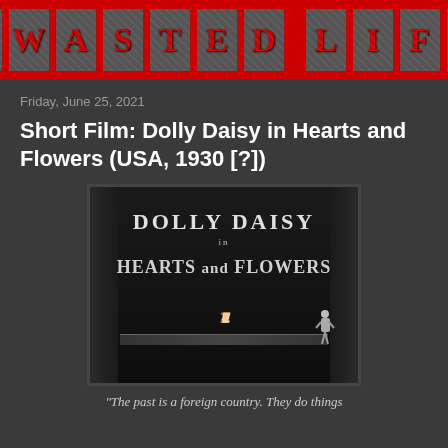A WASTED LIFE
Friday, June 25, 2021
Short Film: Dolly Daisy in Hearts and Flowers (USA, 1930 [?])
[Figure (photo): Black and white film title card showing 'DOLLY DAISY in HEARTS AND FLOWERS' with curtains on the sides and a small cartoon girl figure on the right]
"The past is a foreign country. They do things